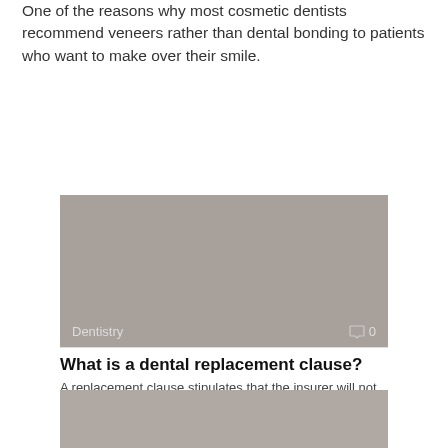One of the reasons why most cosmetic dentists recommend veneers rather than dental bonding to patients who want to make over their smile.
[Figure (photo): Gray placeholder image card with 'Dentistry' label and comment icon showing 0 comments]
What is a dental replacement clause?
A replacement clause stipulates that the insurer will not pay for replacement bridges or
[Figure (photo): Gray placeholder image card (partially visible at bottom of page)]